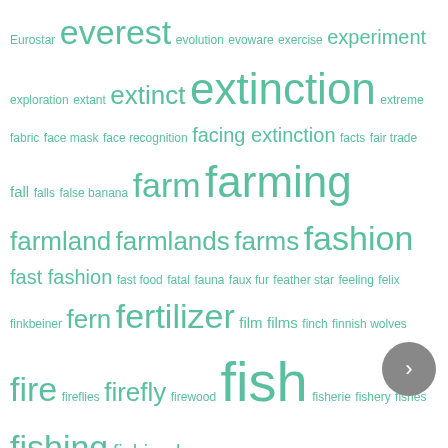[Figure (other): Word cloud of environment/ecology/food related terms in various font sizes, all in teal/green color on white background. Terms range from 'Eurostar' and 'everest' at the top to 'geyser' at the bottom.]